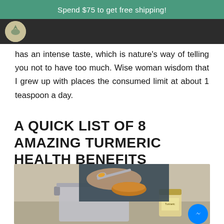Spend $75 to get free shipping!
has an intense taste, which is nature's way of telling you not to have too much. Wise woman wisdom that I grew up with places the consumed limit at about 1 teaspoon a day.
A QUICK LIST OF 8 AMAZING TURMERIC HEALTH BENEFITS
[Figure (photo): A person in a dark apron holding a spoon with turmeric powder over a bowl, with a large pot and a jar of turmeric on the counter]